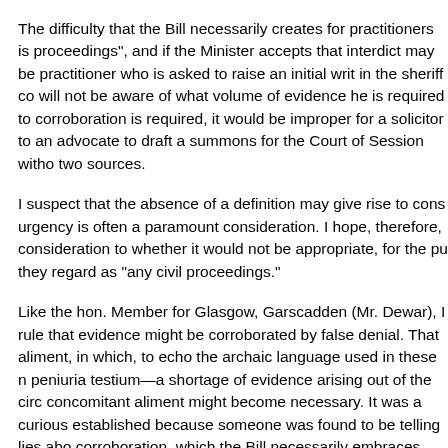The difficulty that the Bill necessarily creates for practitioners is proceedings", and if the Minister accepts that interdict may be practitioner who is asked to raise an initial writ in the sheriff co will not be aware of what volume of evidence he is required to corroboration is required, it would be improper for a solicitor to an advocate to draft a summons for the Court of Session witho two sources.
I suspect that the absence of a definition may give rise to cons urgency is often a paramount consideration. I hope, therefore, consideration to whether it would not be appropriate, for the pu they regard as "any civil proceedings."
Like the hon. Member for Glasgow, Garscadden (Mr. Dewar), I rule that evidence might be corroborated by false denial. That aliment, in which, to echo the archaic language used in these n peniuria testium—a shortage of evidence arising out of the circ concomitant aliment might become necessary. It was a curious established because someone was found to be telling lies abo corroboration, which the Bill necessarily embraces, removes s